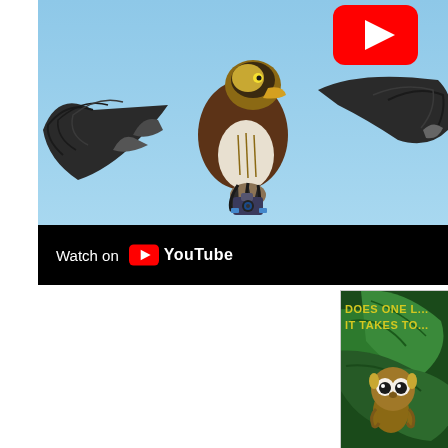[Figure (screenshot): YouTube video embed showing an eagle in flight against a blue sky, carrying prey. A red YouTube play button icon is visible in the top right. Below the video image is a black bar with 'Watch on YouTube' text and the YouTube logo.]
[Figure (illustration): Partial view of an illustrated book or image showing a small animal (appears to be a tarsier or similar creature) among large green tropical leaves, with yellow text reading 'DOES ONE L... IT TAKES TO...' (text partially cut off).]